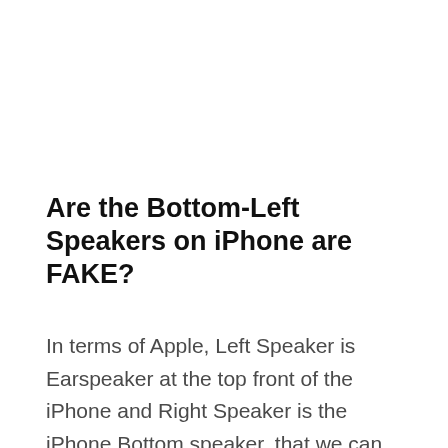Are the Bottom-Left Speakers on iPhone are FAKE?
In terms of Apple, Left Speaker is Earspeaker at the top front of the iPhone and Right Speaker is the iPhone Bottom speaker. that we can adjust under the audio balance settings. [See image below.]